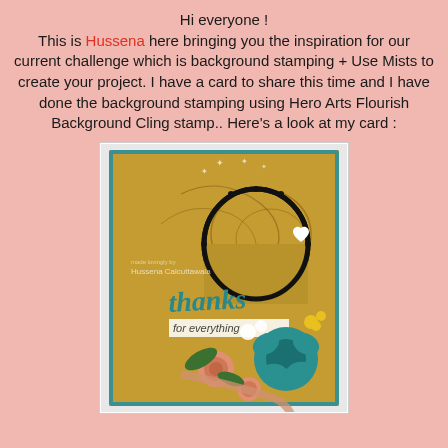Hi everyone ! This is Hussena here bringing you the inspiration for our current challenge which is background stamping + Use Mists to create your project. I have a card to share this time and I have done the background stamping using Hero Arts Flourish Background Cling stamp.. Here's a look at my card :
[Figure (photo): A handmade greeting card featuring background stamping with Hero Arts Flourish Background Cling stamp. The card has a golden/brown flourish-patterned background with teal border, a black decorative frame, teal ribbon letters spelling 'thanks for everything', and embellishments including teal fabric flower, peach roses, white small flowers, yellow flowers, and a white heart. Watermark reads 'Hussena Calcuttawala'.]